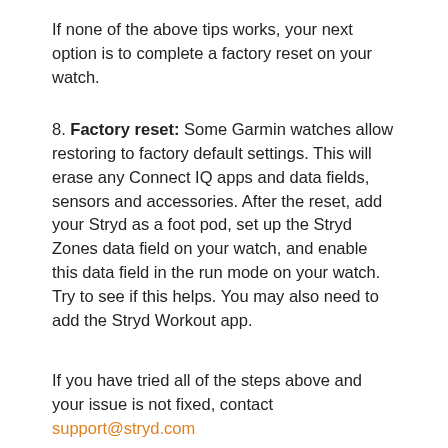If none of the above tips works, your next option is to complete a factory reset on your watch.
8. Factory reset: Some Garmin watches allow restoring to factory default settings. This will erase any Connect IQ apps and data fields, sensors and accessories. After the reset, add your Stryd as a foot pod, set up the Stryd Zones data field on your watch, and enable this data field in the run mode on your watch. Try to see if this helps. You may also need to add the Stryd Workout app.
If you have tried all of the steps above and your issue is not fixed, contact support@stryd.com
Our team will check with you if you have completed all of the steps above. Please do not contact us until you have completed the steps above to ensure that you can have a fast and efficient support experience.